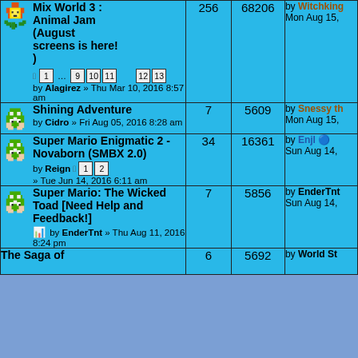| Topic | Replies | Views | Last post |
| --- | --- | --- | --- |
| Mix World 3 : Animal Jam (August screens is here!) by Alagirez » Thu Mar 10, 2016 8:57 am | 256 | 68206 | by Witchking Mon Aug 15, |
| Shining Adventure by Cidro » Fri Aug 05, 2016 8:28 am | 7 | 5609 | by Snessy th Mon Aug 15, |
| Super Mario Enigmatic 2 - Novaborn (SMBX 2.0) by Reign » Tue Jun 14, 2016 6:11 am | 34 | 16361 | by Enjl Sun Aug 14, |
| Super Mario: The Wicked Toad [Need Help and Feedback!] by EnderTnt » Thu Aug 11, 2016 8:24 pm | 7 | 5856 | by EnderTnt Sun Aug 14, |
| The Saga of | 6 | 5692 | by World St |